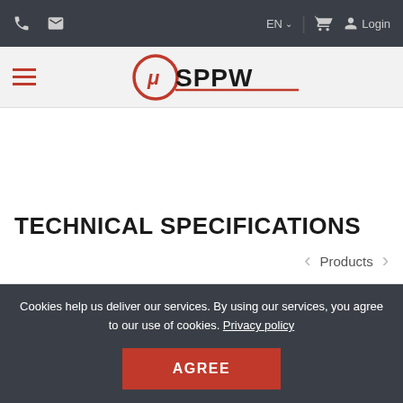EN | Login
[Figure (logo): μSPPW brand logo with red and black styling]
TECHNICAL SPECIFICATIONS
Products
Cookies help us deliver our services. By using our services, you agree to our use of cookies. Privacy policy
AGREE